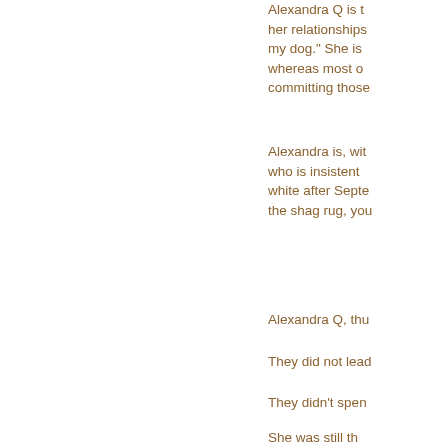Alexandra Q is t... her relationships... my dog.” She is ... whereas most o... committing those...
Alexandra is, wit... who is insistent ... white after Septe... the shag rug, you...
Alexandra Q, thu...
They did not lead...
They didn’t spen...
She was still th... worn makeup he... donuts and lo...